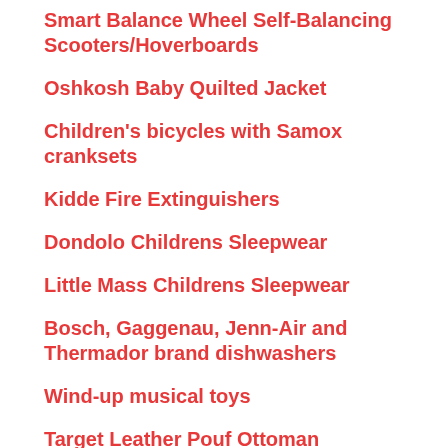Smart Balance Wheel Self-Balancing Scooters/Hoverboards
Oshkosh Baby Quilted Jacket
Children's bicycles with Samox cranksets
Kidde Fire Extinguishers
Dondolo Childrens Sleepwear
Little Mass Childrens Sleepwear
Bosch, Gaggenau, Jenn-Air and Thermador brand dishwashers
Wind-up musical toys
Target Leather Pouf Ottoman